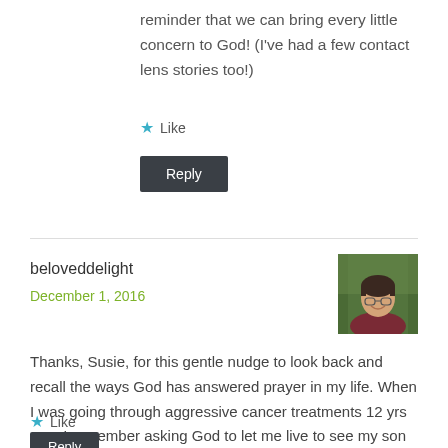reminder that we can bring every little concern to God! (I've had a few contact lens stories too!)
Like
Reply
beloveddelight
December 1, 2016
[Figure (photo): Profile photo of a smiling person with short hair, wearing a dark red top, with a green/nature background]
Thanks, Susie, for this gentle nudge to look back and recall the ways God has answered prayer in my life. When I was going through aggressive cancer treatments 12 yrs ago, I remember asking God to let me live to see my son grow up…he was 3 at the time, and now he's 15, and I'm so thankful God has given me the health and strength to raise him.
Like